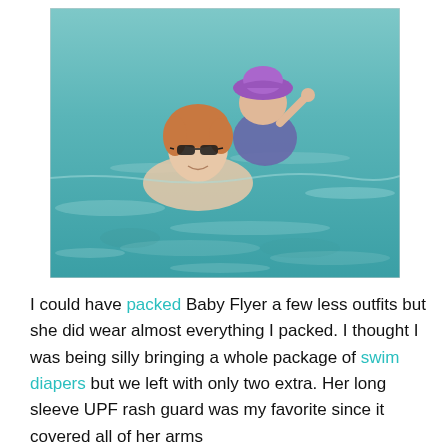[Figure (photo): A woman with sunglasses swimming in clear blue-green water, holding a toddler wearing a purple sun hat and dark rash guard. Both are looking at the camera.]
I could have packed Baby Flyer a few less outfits but she did wear almost everything I packed. I thought I was being silly bringing a whole package of swim diapers but we left with only two extra. Her long sleeve UPF rash guard was my favorite since it covered all of her arms